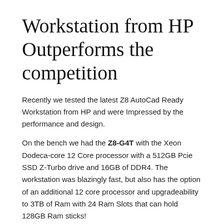Workstation from HP Outperforms the competition
Recently we tested the latest Z8 AutoCad Ready Workstation from HP and were Impressed by the performance and design.
On the bench we had the Z8-G4T with the Xeon Dodeca-core 12 Core processor with a 512GB Pcie SSD Z-Turbo drive and 16GB of DDR4. The workstation was blazingly fast, but also has the option of an additional 12 core processor and upgradeability to 3TB of Ram with 24 Ram Slots that can hold 128GB Ram sticks!